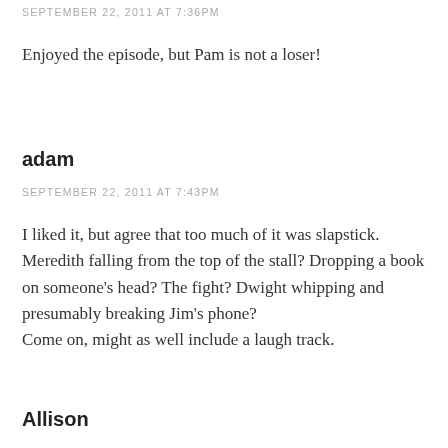SEPTEMBER 22, 2011 AT 7:36PM
Enjoyed the episode, but Pam is not a loser!
adam
SEPTEMBER 22, 2011 AT 7:43PM
I liked it, but agree that too much of it was slapstick. Meredith falling from the top of the stall? Dropping a book on someone's head? The fight? Dwight whipping and presumably breaking Jim's phone?
Come on, might as well include a laugh track.
Allison